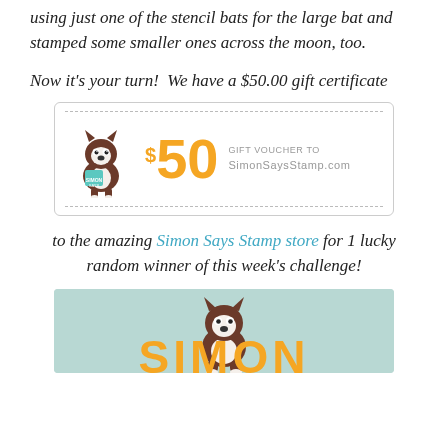using just one of the stencil bats for the large bat and stamped some smaller ones across the moon, too.
Now it's your turn!  We have a $50.00 gift certificate
[Figure (illustration): Simon Says Stamp $50 gift voucher with cartoon Boston Terrier dog carrying a Simon Says Stamp bag, orange $50 text, and grey 'GIFT VOUCHER TO SimonSaysStamp.com' text, inside a dashed border box.]
to the amazing Simon Says Stamp store for 1 lucky random winner of this week's challenge!
[Figure (logo): Simon Says Stamp logo banner with light teal background, cartoon Boston Terrier dog, and large orange 'SIMON' lettering at bottom.]